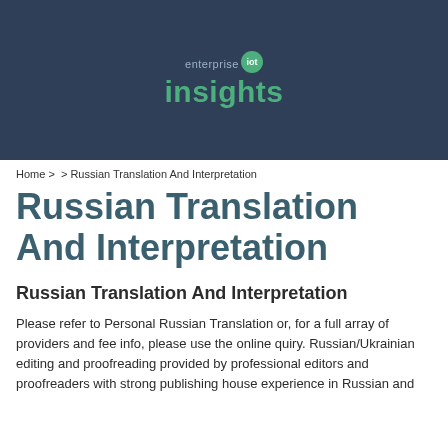[Figure (logo): Enterprise IoT Insights logo — dark navy banner with 'enterprise' text, green circle with 'iot', and green 'insights' text below]
Home >  > Russian Translation And Interpretation
Russian Translation And Interpretation
Russian Translation And Interpretation
Please refer to Personal Russian Translation or, for a full array of providers and fee info, please use the online quiry. Russian/Ukrainian editing and proofreading provided by professional editors and proofreaders with strong publishing house experience in Russian and